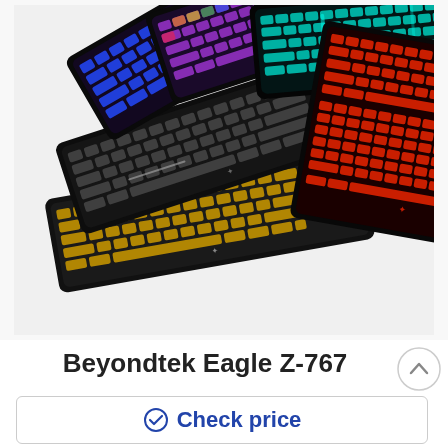[Figure (photo): Multiple gaming keyboards (Beyondtek Eagle Z-767) fanned out, each with different RGB backlight colors including blue, purple, teal/cyan, red, white/none, and golden/yellow]
Beyondtek Eagle Z-767
Check price